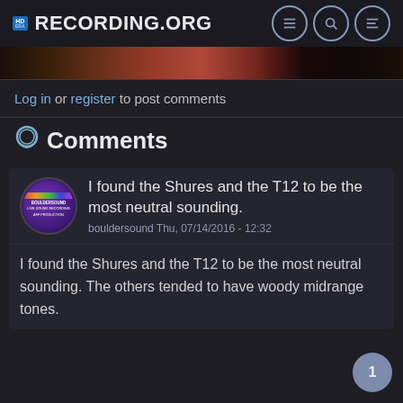Recording.org
[Figure (photo): Partial banner photo, dark tones]
Log in or register to post comments
Comments
I found the Shures and the T12 to be the most neutral sounding. bouldersound Thu, 07/14/2016 - 12:32
I found the Shures and the T12 to be the most neutral sounding. The others tended to have woody midrange tones.